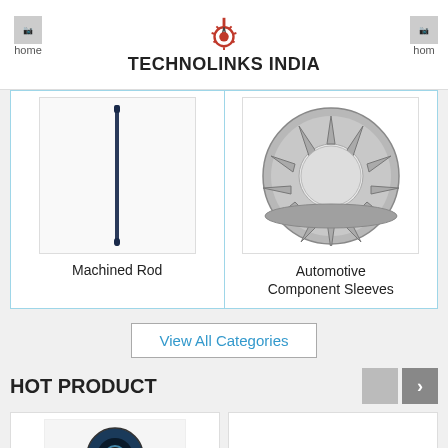TECHNOLINKS INDIA
[Figure (photo): Machined Rod - a long thin metallic rod]
Machined Rod
[Figure (photo): Automotive Component Sleeves - a circular metal gear sleeve]
Automotive Component Sleeves
View All Categories
HOT PRODUCT
[Figure (photo): Hot product item - blue/black socket or component]